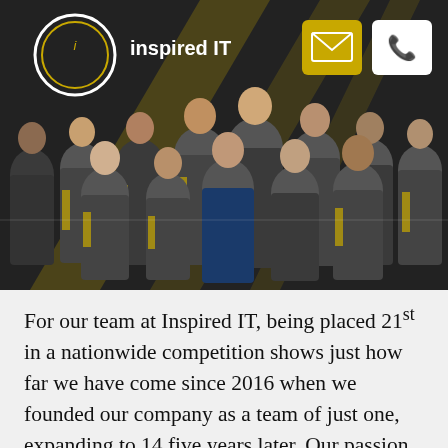[Figure (photo): Group photo of the Inspired IT team, approximately 14 people wearing grey and yellow polo shirts, standing in front of a branded backdrop. The Inspired IT logo (circular i icon) and company name are visible in the top left of the image. Yellow email and phone icon buttons are visible in the top right.]
For our team at Inspired IT, being placed 21st in a nationwide competition shows just how far we have come since 2016 when we founded our company as a team of just one, expanding to 14 five years later. Our passion for delivering quality IT...